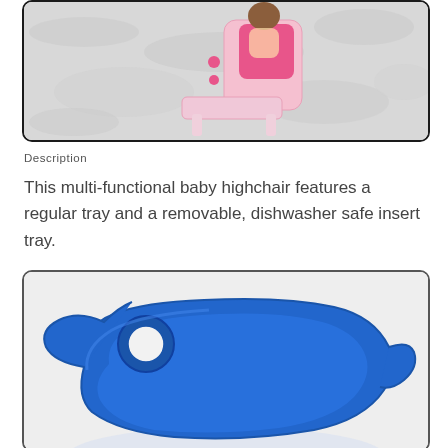[Figure (photo): A pink baby highchair on a white/grey carpet, viewed from the side, with pink polka dot accents.]
Description
This multi-functional baby highchair features a regular tray and a removable, dishwasher safe insert tray.
[Figure (photo): Close-up of a blue dishwasher-safe insert tray for a baby highchair, showing its rounded shape with cup holder cutout.]